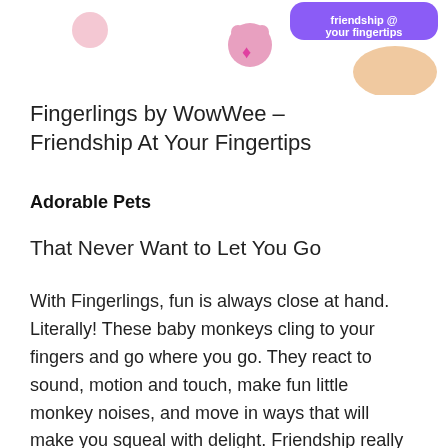[Figure (photo): Top portion of a Fingerlings product image showing a small monkey character and a hand with a purple badge reading 'friendship @ your fingertips']
Fingerlings by WowWee – Friendship At Your Fingertips
Adorable Pets
That Never Want to Let You Go
With Fingerlings, fun is always close at hand. Literally! These baby monkeys cling to your fingers and go where you go. They react to sound, motion and touch, make fun little monkey noises, and move in ways that will make you squeal with delight. Friendship really is at your fingertips!